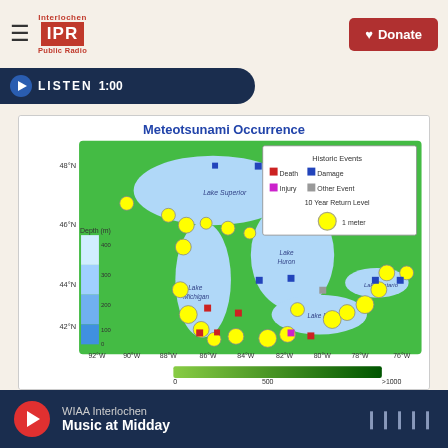[Figure (logo): Interlochen IPR Public Radio logo]
[Figure (other): Donate button with heart icon]
[Figure (other): Listen player bar with play button and time 1:00]
[Figure (map): Meteotsunami Occurrence map of the Great Lakes region showing historic events (Death, Damage, Injury, Other Event) marked with colored squares, and 10 Year Return Level yellow circles of 1 meter size. Depth shown in meters with color scale 0-400m. Geographic coordinates from 92W to 76W longitude and 42N to 48N latitude. Lakes shown: Superior, Michigan, Huron, Erie, Ontario. Green color scale bar from 0 to >1000 at bottom.]
WIAA Interlochen Music at Midday